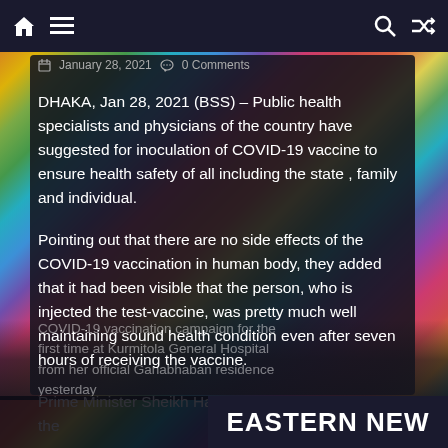🏠  ≡                            🔍  ⇌
📅 January 28, 2021  💬 0 Comments
DHAKA, Jan 28, 2021 (BSS) – Public health specialists and physicians of the country have suggested for inoculation of COVID-19 vaccine to ensure health safety of all including the state , family and individual.
Pointing out that there are no side effects of the COVID-19 vaccination in human body, they added that it had been visible that the person, who is injected the test-vaccine, was pretty much well maintaining sound health condition even after seven hours of receiving the vaccine.
Prime Minister Sheikh Hasina formally inaugurated the
COVID-19 vaccination campaign for the first time at Kurmitola General Hospital from her official Ganabhaban residence yesterday
EASTERN NEW